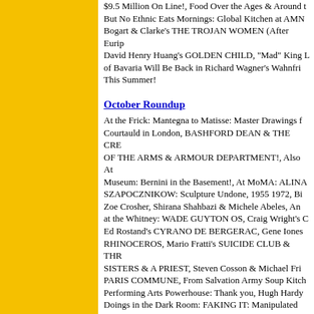$9.5 Million On Line!, Food Over the Ages & Around the World But No Ethnic Eats Mornings: Global Kitchen at AMN, Bogart & Clarke's THE TROJAN WOMEN (After Euripides), David Henry Huang's GOLDEN CHILD, "Mad" King Ludwig of Bavaria Will Be Back in Richard Wagner's Wahnfried This Summer!
October Roundup
At the Frick: Mantegna to Matisse: Master Drawings from the Courtauld in London, BASHFORD DEAN & THE CREATION OF THE ARMS & ARMOUR DEPARTMENT!, Also At the Museum: Bernini in the Basement!, At MoMA: ALINA SZAPOCZNIKOW: Sculpture Undone, 1955 1972, Big Pictures: Zoe Crosher, Shirana Shahbazi & Michele Abeles, And at the Whitney: WADE GUYTON OS, Craig Wright's C, Ed Rostand's CYRANO DE BERGERAC, Gene Iones's RHINOCEROS, Mario Fratti's SUICIDE CLUB & THREE SISTERS & A PRIEST, Steven Cosson & Michael Frie's PARIS COMMUNE, From Salvation Army Soup Kitchen to Performing Arts Powerhouse: Thank you, Hugh Hardy!, Doings in the Dark Room: FAKING IT: Manipulated Photography before Photoshop, ROBERT WILSON/PHILIP GLASS: Einstein on the Beach, DÜRER TO DE KOONING: 100 Master Drawings from Munich, JOSEF ALBERS IN AMERICA: Painting on Paper, Stephen Belber's DON'T BE GENTLE, At the Asia Society: CHINA CLOSE UP All Year Long!, BOUND UNBOUND: Lin Tianmiao--The Obsessive Thread Binder, Simon Stephens' HARPER REGAN, Circolombia's URBAN, Deanna Jent's FALLING, WWI & NYC: How New York City Helped Defeat the Jans &